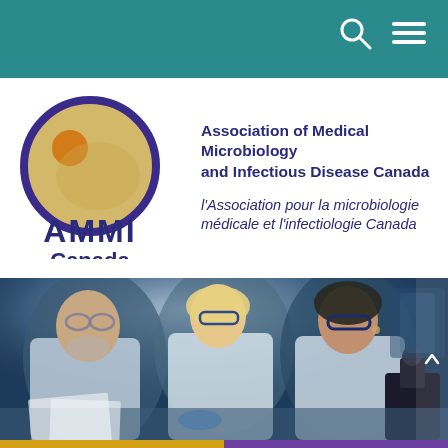AMMI Canada website header with teal navigation bar containing search and menu icons
[Figure (logo): AMMI Canada logo: circular yellow/gold disc with purple ring and small orange circle, beside bold purple text 'AMMI Canada']
Association of Medical Microbiology and Infectious Disease Canada
l'Association pour la microbiologie médicale et l'infectiologie Canada
[Figure (photo): Three scientists in white lab coats and safety glasses examining documents or samples at a lab bench under bright lighting. One older male on left, one blonde female in center, one dark-haired female on right looking into microscope.]